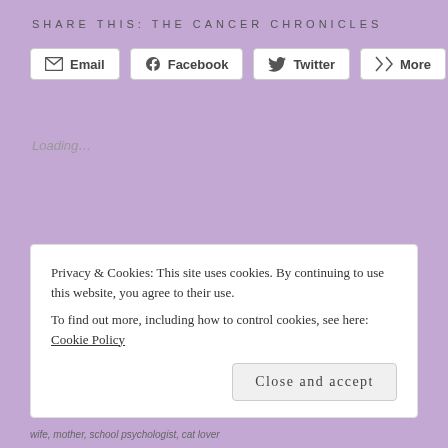SHARE THIS: THE CANCER CHRONICLES
[Figure (screenshot): Social sharing buttons: Email, Facebook, Twitter, More]
Loading...
THIS ENTRY WAS POSTED IN: LIFE LESSONS, LOVE, METASTATIC BREAST CANCER TAGGED WITH: LIFE LESSONS, METASTATIC BREAST CANCER
Privacy & Cookies: This site uses cookies. By continuing to use this website, you agree to their use.
To find out more, including how to control cookies, see here: Cookie Policy
Close and accept
wife, mother, school psychologist, cat lover